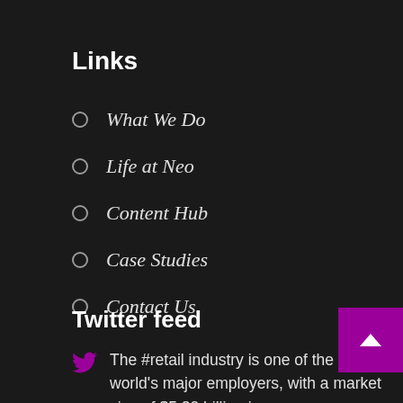Links
What We Do
Life at Neo
Content Hub
Case Studies
Contact Us
Twitter feed
The #retail industry is one of the world's major employers, with a market size of $5.20 billion in